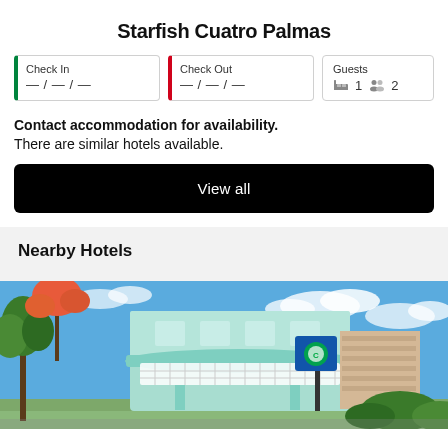Starfish Cuatro Palmas
Check In — / — / —
Check Out — / — / —
Guests 1 2
Contact accommodation for availability.
There are similar hotels available.
View all
Nearby Hotels
[Figure (photo): Exterior photo of a teal/turquoise hotel building with balcony, tropical trees, blue sky, and a hotel sign.]